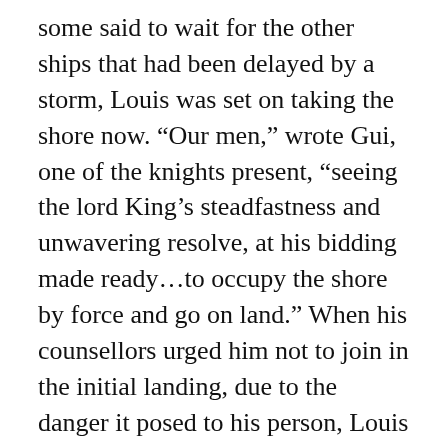some said to wait for the other ships that had been delayed by a storm, Louis was set on taking the shore now. “Our men,” wrote Gui, one of the knights present, “seeing the lord King’s steadfastness and unwavering resolve, at his bidding made ready…to occupy the shore by force and go on land.” When his counsellors urged him not to join in the initial landing, due to the danger it posed to his person, Louis responded, “I am only one individual whose life, when God wills it, will be snuffed out like any other man’s.”
And so, on today’s date, June 6, 1249, the Crusaders, to a loud battle cry, furiously paddled to shore in smaller boats, and “in accordance with the lord King’s strict and most urgent command, hostil… into the … to their knees.” Cha…